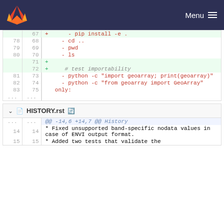GitLab navigation bar with logo and Menu
[Figure (screenshot): Code diff view showing added lines with pip install -e . and other shell commands, including python import tests]
| old | new | code |
| --- | --- | --- |
|  | 67 | + - pip install -e . |
| 78 | 68 |     - cd .. |
| 79 | 69 |     - pwd |
| 80 | 70 |     - ls |
|  | 71 | + |
|  | 72 | +     # test importability |
| 81 | 73 |     - python -c "import geoarray; print(geoarray)" |
| 82 | 74 |     - python -c "from geoarray import GeoArray" |
| 83 | 75 |     only: |
| ... | ... |  |
HISTORY.rst
| old | new | code |
| --- | --- | --- |
| ... | ... | @@ -14,6 +14,7 @@ History |
| 14 | 14 | * Fixed unsupported band-specific nodata values in case of ENVI output format. |
| 15 | 15 | * Added two tests that validate the |